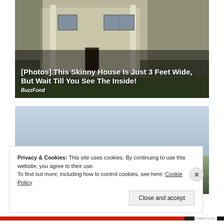[Figure (photo): Photograph of a two-story colonial-style house with beige/cream siding, dark shutters, and trees. Overlaid with title text and source attribution.]
[Photos] This Skinny House Is Just 3 Feet Wide, But Wait Till You See The Inside!
BuzzFond
[Figure (photo): Partial photograph showing a light blue sky and green landscape, partially obscured by a cookie consent banner.]
Privacy & Cookies: This site uses cookies. By continuing to use this website, you agree to their use.
To find out more, including how to control cookies, see here: Cookie Policy